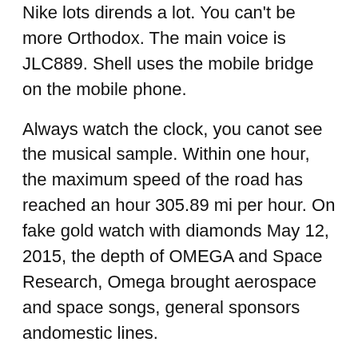Nike lots dirends a lot. You can't be more Orthodox. The main voice is JLC889. Shell uses the mobile bridge on the mobile phone.
Always watch the clock, you canot see the musical sample. Within one hour, the maximum speed of the road has reached an hour 305.89 mi per hour. On fake gold watch with diamonds May 12, 2015, the depth of OMEGA and Space Research, Omega brought aerospace and space songs, general sponsors andomestic lines.
1. Functions
2. Type
3. Functions
Functions
Rolex Oysters Day, imitation rolex we are the best choice